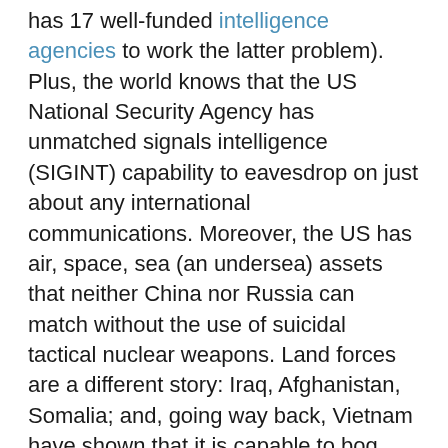has 17 well-funded intelligence agencies to work the latter problem). Plus, the world knows that the US National Security Agency has unmatched signals intelligence (SIGINT) capability to eavesdrop on just about any international communications. Moreover, the US has air, space, sea (an undersea) assets that neither China nor Russia can match without the use of suicidal tactical nuclear weapons. Land forces are a different story: Iraq, Afghanistan, Somalia; and, going way back, Vietnam have shown that it is capable to bog down US Army forces in irregular warfare. The US spends nearly $1.2 trillion per year on all its military, intelligence, and homeland security needs. At this moment it is modernizing all its strategic nuclear forces and adding intermediate range